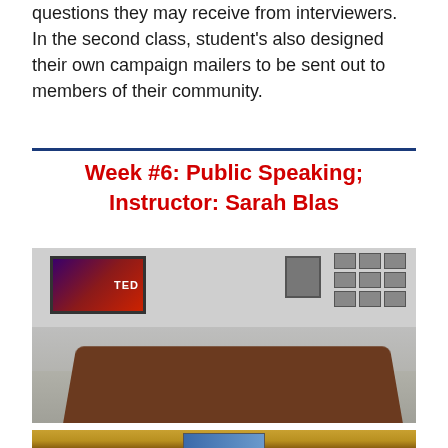questions they may receive from interviewers.  In the second class, student's also designed their own campaign mailers to be sent out to members of their community.
Week #6: Public Speaking; Instructor: Sarah Blas
[Figure (photo): Students sitting around a conference room table with laptops and materials. A TED talk is playing on a TV mounted on the wall. Framed photos hang on the right wall.]
[Figure (photo): Partial view of a room with warm golden/yellow tones, likely showing a presentation screen at the bottom.]